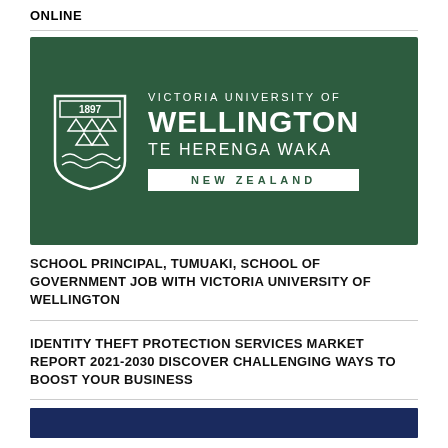ONLINE
[Figure (logo): Victoria University of Wellington Te Herenga Waka New Zealand logo on dark green background with shield emblem showing 1897]
SCHOOL PRINCIPAL, TUMUAKI, SCHOOL OF GOVERNMENT JOB WITH VICTORIA UNIVERSITY OF WELLINGTON
IDENTITY THEFT PROTECTION SERVICES MARKET REPORT 2021-2030 DISCOVER CHALLENGING WAYS TO BOOST YOUR BUSINESS
[Figure (other): Dark navy blue banner at bottom of page]